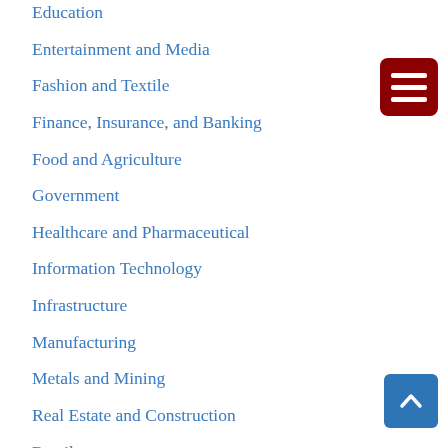Education
Entertainment and Media
Fashion and Textile
Finance, Insurance, and Banking
Food and Agriculture
Government
Healthcare and Pharmaceutical
Information Technology
Infrastructure
Manufacturing
Metals and Mining
Real Estate and Construction
Retail
[Figure (other): Dark red hamburger menu button with three white horizontal bars]
[Figure (other): Blue scroll-to-top button with upward chevron arrow]